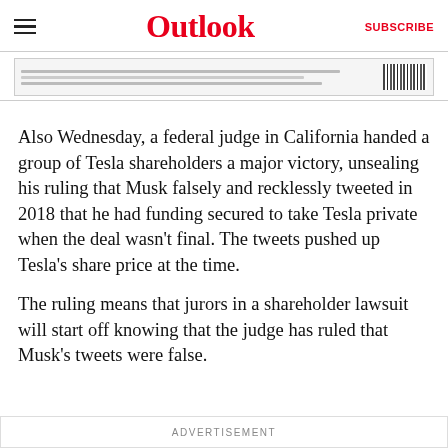Outlook  SUBSCRIBE
[Figure (screenshot): Banner advertisement strip with bar lines and barcode graphic]
Also Wednesday, a federal judge in California handed a group of Tesla shareholders a major victory, unsealing his ruling that Musk falsely and recklessly tweeted in 2018 that he had funding secured to take Tesla private when the deal wasn't final. The tweets pushed up Tesla's share price at the time.
The ruling means that jurors in a shareholder lawsuit will start off knowing that the judge has ruled that Musk's tweets were false.
ADVERTISEMENT